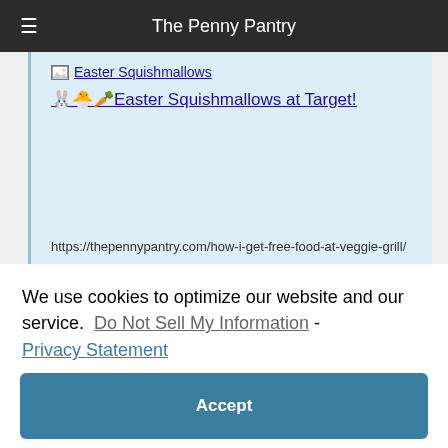The Penny Pantry
[Figure (screenshot): Content area with light blue background showing an image placeholder labeled 'Easter Squishmallows' and a link with rabbit, chick, and carrot emojis reading 'Easter Squishmallows at Target!' followed by a URL: https://thepennypantry.com/how-i-get-free-food-at-veggie-grill/]
We use cookies to optimize our website and our service. Do Not Sell My Information - Privacy Statement
Accept